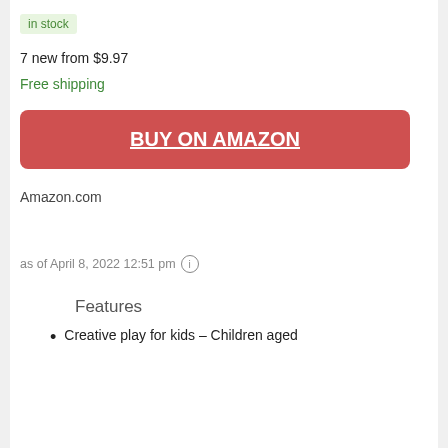in stock
7 new from $9.97
Free shipping
BUY ON AMAZON
Amazon.com
as of April 8, 2022 12:51 pm
Features
Creative play for kids – Children aged